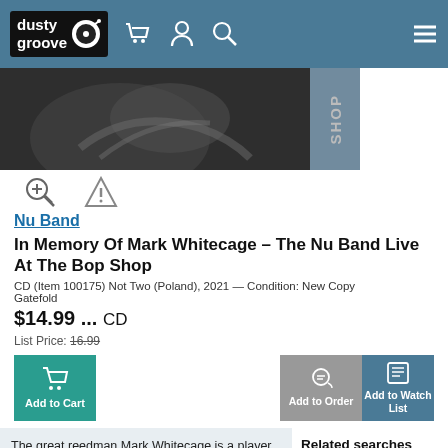dusty groove
[Figure (photo): Black and white photo of musician playing saxophone, with 'SHOP' text overlay on right side]
Nu Band
In Memory Of Mark Whitecage – The Nu Band Live At The Bop Shop
CD (Item 100175) Not Two (Poland), 2021 — Condition: New Copy
Gatefold
$14.99 ... CD
List Price: 16.99
Add to Cart | Add to Order | Add to Watch List
The great reedman Mark Whitecage is a player who never fully got his due – a really unique talent in terms of phrasing and rhythm, finally given one last chance at the spotlight here on this final recording with The Nu Band, a group in which he played for many years! All four players here are great – Thomas Heberer on quarter tone trumpet, Joe Fonda on bass, and Lou Grassi on drums and percussion – but it also
Related searches
Nu Band
Not Two
Not Two (label)
Jazz (CD, LP)